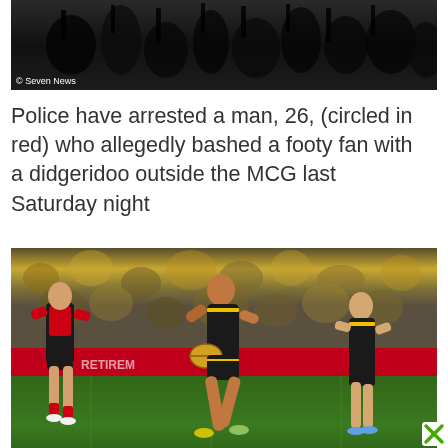[Figure (photo): Dark/night crowd scene image with 'Seven News' watermark in bottom left corner]
© Seven News
Police have arrested a man, 26, (circled in red) who allegedly bashed a footy fan with a didgeridoo outside the MCG last Saturday night
[Figure (photo): AFL football match photo showing players on the field, one player in Richmond black/yellow kit running with the ball, another in Essendon red/black kit, crowd in background]